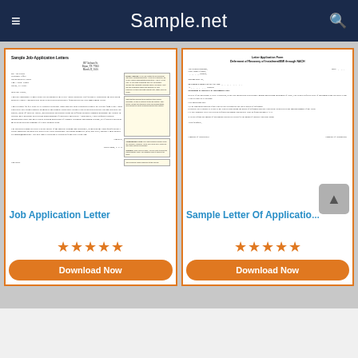Sample.net
[Figure (screenshot): Preview of Sample Job-Application Letters document with annotated callout boxes]
Job Application Letter
[Figure (screenshot): Preview of Letter Application Form - Deferment of Recovery of Instalment/EMI through NACH]
Sample Letter Of Application
★★★★★
★★★★★
Download Now
Download Now